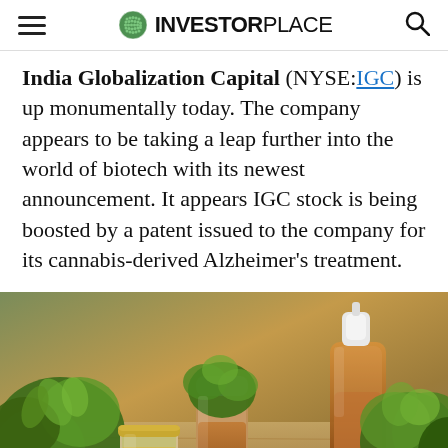INVESTORPLACE
India Globalization Capital (NYSE:IGC) is up monumentally today. The company appears to be taking a leap further into the world of biotech with its newest announcement. It appears IGC stock is being boosted by a patent issued to the company for its cannabis-derived Alzheimer's treatment.
[Figure (photo): Photo of cannabis oil bottles and jars with cannabis plant buds on a wooden surface. Includes small glass jars with golden oil, amber dropper bottles, and green cannabis plant material arranged together.]